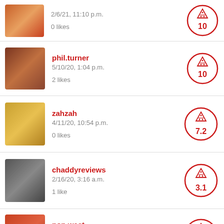2/6/21, 11:10 p.m. | 0 likes | score: 10
phil.turner | 5/10/20, 1:04 p.m. | 2 likes | score: 10
zahzah | 4/11/20, 10:54 p.m. | 0 likes | score: 7.2
chaddyreviews | 2/16/20, 3:16 a.m. | 1 like | score: 3.1
pop.west | 1/12/20, 9:13 p.m. | 0 likes | score: 7.8